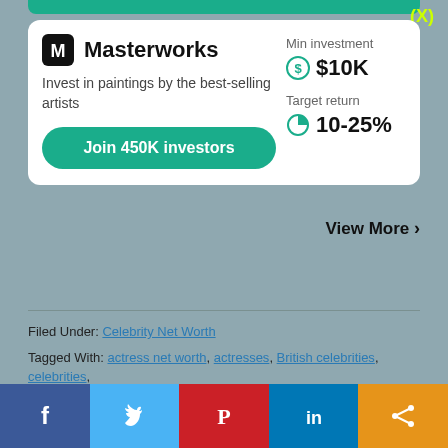[Figure (logo): Masterworks logo with M icon and brand name, investment ad card showing Min investment $10K and Target return 10-25%, with Join 450K investors button]
View More >
Filed Under: Celebrity Net Worth
Tagged With: actress net worth, actresses, British celebrities, celebrities, celebrity net worth
[Figure (infographic): Social share bar with Facebook, Twitter, Pinterest, LinkedIn, and share buttons]